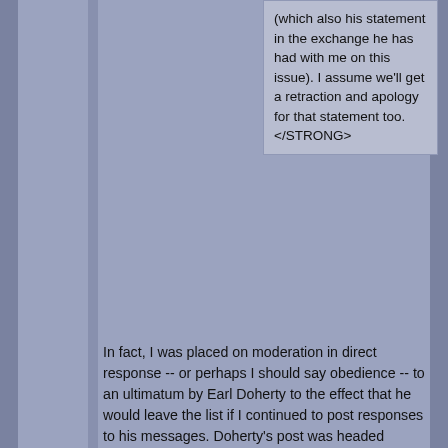(which also his statement in the exchange he has had with me on this issue). I assume we'll get a retraction and apology for that statement too. </STRONG>
In fact, I was placed on moderation in direct response -- or perhaps I should say obedience -- to an ultimatum by Earl Doherty to the effect that he would leave the list if I continued to post responses to his messages. Doherty's post was headed "Repeating Myself;" I of course have no idea whether it is still available for perusal, but anyone who was on the list at the time will no doubt recall it because it was egregiously petulant even by Earl's standards. Almost immediately after Doherty posted his ultimatum, I